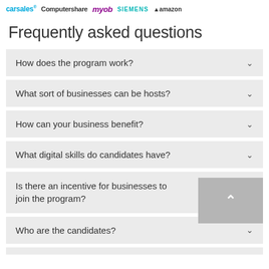carsales  Computershare  myob  SIEMENS  amazon
Frequently asked questions
How does the program work?
What sort of businesses can be hosts?
How can your business benefit?
What digital skills do candidates have?
Is there an incentive for businesses to join the program?
Who are the candidates?